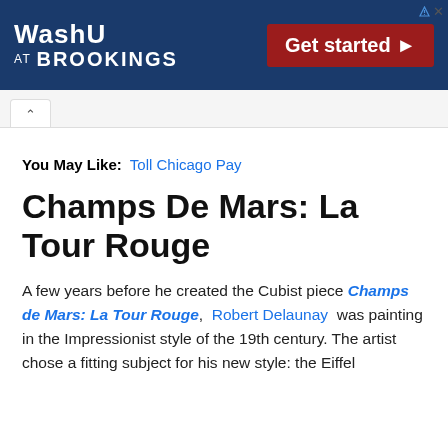[Figure (screenshot): WashU at Brookings advertisement banner with dark blue background, logo on left, and red 'Get started' button on right]
You May Like:  Toll Chicago Pay
Champs De Mars: La Tour Rouge
A few years before he created the Cubist piece Champs de Mars: La Tour Rouge,  Robert Delaunay  was painting in the Impressionist style of the 19th century. The artist chose a fitting subject for his new style: the Eiffel